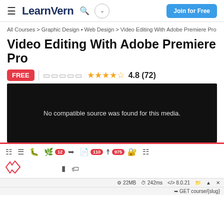≡  LearnVern  🔍  ⌄  Join for Free
All Courses > Graphic Design • Web Design > Video Editing With Adobe Premiere Pro
Video Editing With Adobe Premiere Pro
FREE  ☐☐☐☐☐  ★★★★½  4.8 (72)
[Figure (screenshot): Black video player area showing error message: No compatible source was found for this media.]
Toolbar icons with badges: 12, 110, 975
22MB  242ms  8.0.21
GET course/{slug}